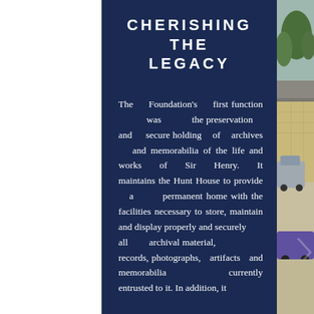CHERISHING THE LEGACY
The Foundation's first function was the preservation and secure holding of archives and memorabilia of the life and works of Sir Henry. It maintains the Hunt House to provide a permanent home with the facilities necessary to store, maintain and display properly and securely all archival material, records, photographs, artifacts and memorabilia currently entrusted to it. In addition, it
[Figure (photo): Photograph of Hunt House exterior showing stone building with slate roof, gravel driveway, trees in background, and vintage cars parked outside. A faint chevron/arrow watermark is visible.]